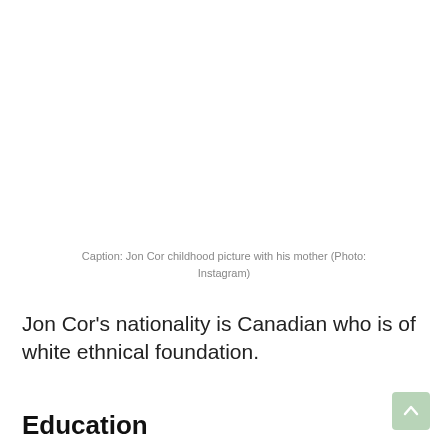Caption: Jon Cor childhood picture with his mother (Photo: Instagram)
Jon Cor's nationality is Canadian who is of white ethnical foundation.
Education